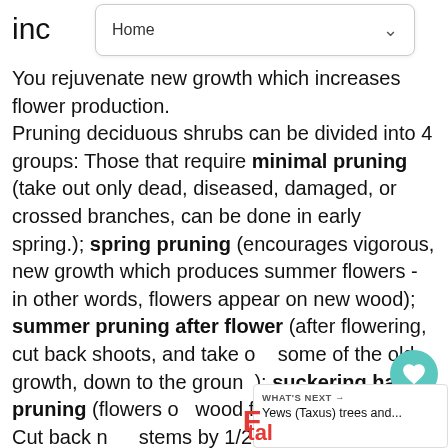inc
Home
You rejuvenate new growth which increases flower production. Pruning deciduous shrubs can be divided into 4 groups: Those that require minimal pruning (take out only dead, diseased, damaged, or crossed branches, can be done in early spring.); spring pruning (encourages vigorous, new growth which produces summer flowers - in other words, flowers appear on new wood); summer pruning after flower (after flowering, cut back shoots, and take out some of the old growth, down to the ground); suckering habit pruning (flowers on wood from previous year. Cut back new stems by 1/2, to strong growing new shoots